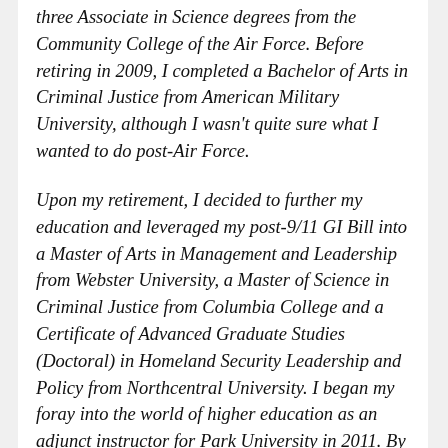three Associate in Science degrees from the Community College of the Air Force. Before retiring in 2009, I completed a Bachelor of Arts in Criminal Justice from American Military University, although I wasn't quite sure what I wanted to do post-Air Force.
Upon my retirement, I decided to further my education and leveraged my post-9/11 GI Bill into a Master of Arts in Management and Leadership from Webster University, a Master of Science in Criminal Justice from Columbia College and a Certificate of Advanced Graduate Studies (Doctoral) in Homeland Security Leadership and Policy from Northcentral University. I began my foray into the world of higher education as an adjunct instructor for Park University in 2011. By 2013, I was running a Park University campus center as its director in Lexington, Missouri. Unfortunately, economic realities forced Park to close several of its Kansas City area campus locations in 2015, and the one in Lexington was one of them. So I